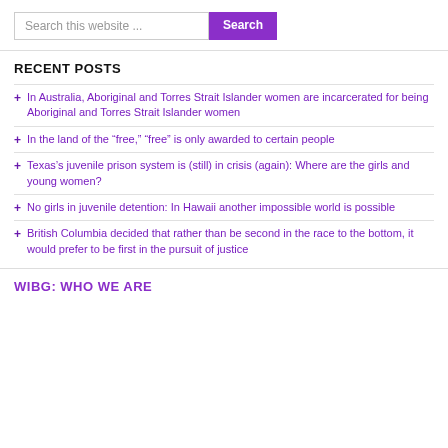Search this website ...
RECENT POSTS
In Australia, Aboriginal and Torres Strait Islander women are incarcerated for being Aboriginal and Torres Strait Islander women
In the land of the “free,” “free” is only awarded to certain people
Texas’s juvenile prison system is (still) in crisis (again): Where are the girls and young women?
No girls in juvenile detention: In Hawaii another impossible world is possible
British Columbia decided that rather than be second in the race to the bottom, it would prefer to be first in the pursuit of justice
WIBG: WHO WE ARE